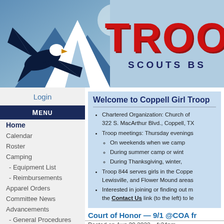[Figure (illustration): Troop website header banner with eagle illustration, mountain landscape in blue tones on the left, and large red 'TROO' text with 'SCOUTS BS' subtitle on the right on a light blue background]
Login
Menu
Home
Calendar
Roster
Camping
- Equipment List
- Reimbursements
Apparel Orders
Committee News
Advancements
- General Procedures
- Merit Badges
- Service Hours
- Conservation Hours
- Life to Eagle
Welcome to Coppell Girl Troop
Chartered Organization: Church of... 322 S. MacArthur Blvd., Coppell, TX
Troop meetings: Thursday evenings...
  On weekends when we camp...
  During summer camp or wint...
  During Thanksgiving, winter,...
Troop 844 serves girls in the Coppe... Lewisville, and Flower Mound areas...
Interested in joining or finding out m... the Contact Us link (to the left) to le...
Court of Honor — 9/1 @COA fr
Posted on Aug 30 2022 - 4:24pm
Please read the announcement...